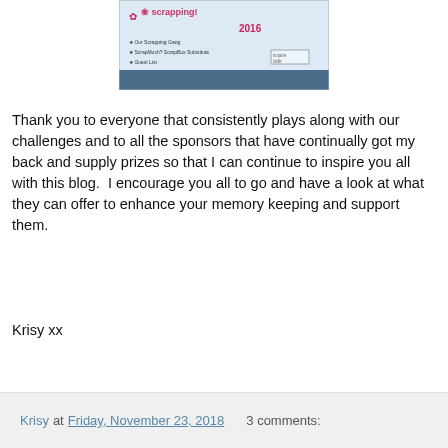[Figure (photo): Scrapbooking event promotional image with pink ribbon icon, decorative text reading 'scrapping' and year '2016', with small text lines and a stamp/faith label]
Thank you to everyone that consistently plays along with our challenges and to all the sponsors that have continually got my back and supply prizes so that I can continue to inspire you all with this blog.  I encourage you all to go and have a look at what they can offer to enhance your memory keeping and support them.
Krisy xx
Krisy at Friday, November 23, 2018    3 comments: